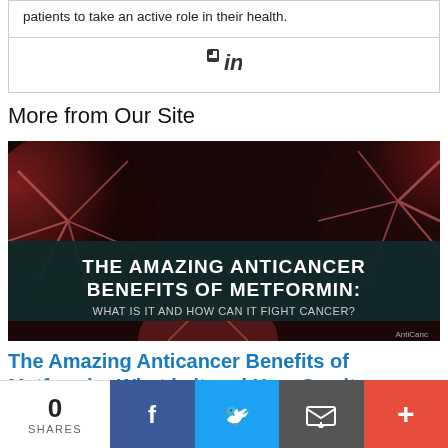patients to take an active role in their health.
[Figure (logo): LinkedIn 'in' icon]
More from Our Site
[Figure (photo): Medical/cancer cell imagery with overlay text: THE AMAZING ANTICANCER BENEFITS OF METFORMIN: WHAT IS IT AND HOW CAN IT FIGHT CANCER?]
The Amazing Anticancer Benefits of Metformin: What is it and How Can it
[Figure (infographic): Social share bar: 0 SHARES, Facebook, Twitter, Email, More buttons]